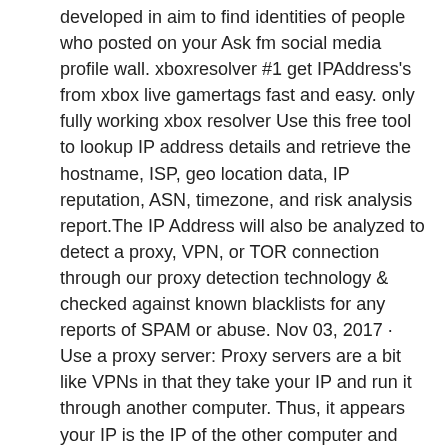developed in aim to find identities of people who posted on your Ask fm social media profile wall. xboxresolver #1 get IPAddress's from xbox live gamertags fast and easy. only fully working xbox resolver Use this free tool to lookup IP address details and retrieve the hostname, ISP, geo location data, IP reputation, ASN, timezone, and risk analysis report.The IP Address will also be analyzed to detect a proxy, VPN, or TOR connection through our proxy detection technology & checked against known blacklists for any reports of SPAM or abuse. Nov 03, 2017 · Use a proxy server: Proxy servers are a bit like VPNs in that they take your IP and run it through another computer. Thus, it appears your IP is the IP of the other computer and can make it seem like you're viewing the Internet through the country of that other computer. However, there can be lots of risks involved her. Our proxies are suitable for users who need a lot of IP addresses and use each one for only a while, especially SEO/traffic tools (ex. scrapers and bots). For stable, fast, and anonymous surfing, please try our new